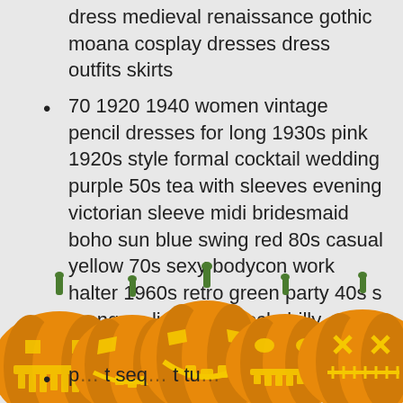dress medieval renaissance gothic moana cosplay dresses dress outfits skirts
70 1920 1940 women vintage pencil dresses for long 1930s pink 1920s style formal cocktail wedding purple 50s tea with sleeves evening victorian sleeve midi bridesmaid boho sun blue swing red 80s casual yellow 70s sexy bodycon work halter 1960s retro green party 40s s orange a line prom rockabilly pockets 97s maxi fit
[Figure (illustration): Five carved Halloween jack-o-lantern pumpkins in a row at the bottom of the page, orange with green stems and glowing yellow faces with different expressions]
p... t seq... t tu...